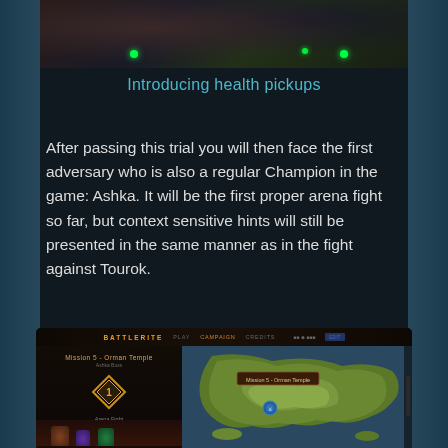[Figure (screenshot): Top portion of a game screenshot showing a dark arena scene with two green glowing dots/indicators]
Introducing health pickups
After passing this trial you will then face the first adversary who is also a regular Champion in the game: Ashka. It will be the first proper arena fight so far, but context sensitive hints will still be presented in the same manner as in the fight against Tourok.
[Figure (screenshot): Battlerite game UI screenshot showing Mission 5 - Orman Temple screen with left panel showing mission details, diamond icon, Arena Fight label, and Play button, alongside a map view with green terrain and Mission 5 - Orman Temple tooltip marker]